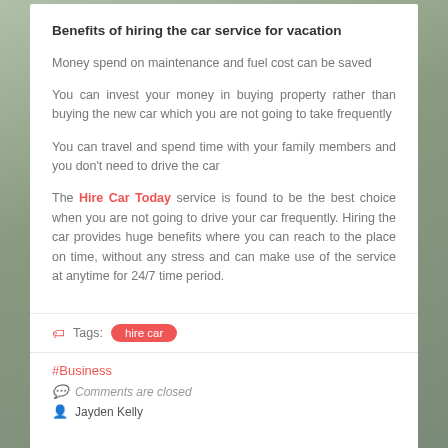Benefits of hiring the car service for vacation
Money spend on maintenance and fuel cost can be saved
You can invest your money in buying property rather than buying the new car which you are not going to take frequently
You can travel and spend time with your family members and you don’t need to drive the car
The Hire Car Today service is found to be the best choice when you are not going to drive your car frequently. Hiring the car provides huge benefits where you can reach to the place on time, without any stress and can make use of the service at anytime for 24/7 time period.
Tags: hire car
#Business
Comments are closed
Jayden Kelly